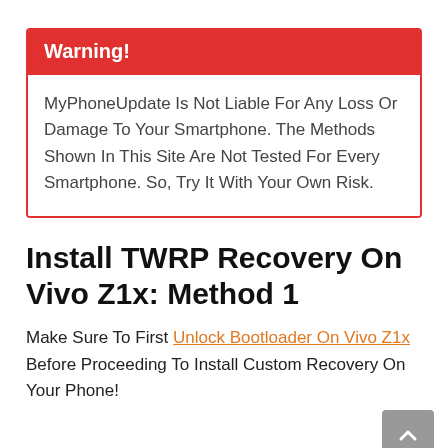Warning! MyPhoneUpdate Is Not Liable For Any Loss Or Damage To Your Smartphone. The Methods Shown In This Site Are Not Tested For Every Smartphone. So, Try It With Your Own Risk.
Install TWRP Recovery On Vivo Z1x: Method 1
Make Sure To First Unlock Bootloader On Vivo Z1x Before Proceeding To Install Custom Recovery On Your Phone!